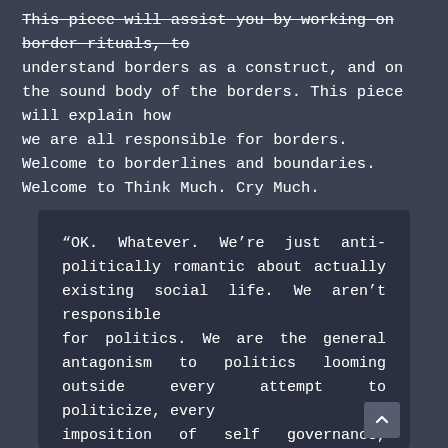This piece will assist you by working on border rituals, to understand borders as a construct, and on the sound body of the borders. This piece will explain how we are all responsible for borders. Welcome to borderlines and boundaries. Welcome to Think Much. Cry Much.
“OK. Whatever. We’re just anti-politically romantic about actually existing social life. We aren’t responsible for politics. We are the general antagonism to politics looming outside every attempt to politicize, every imposition of self governance, every sovereign decision and its degraded miniature, every emergent state